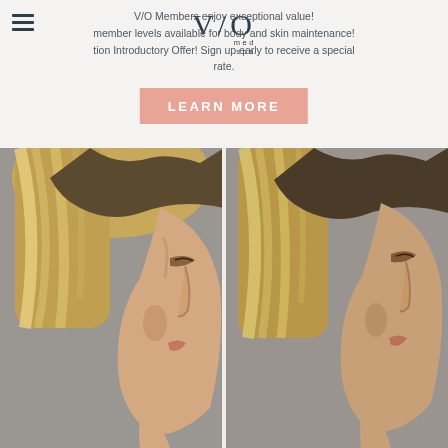V/O Members enjoy exceptional value! member levels available for body and skin maintenance! Introductory Offer! Sign up early to receive a special rate.
LEARN MORE
[Figure (photo): Before and after side-by-side profile photos of a woman showing rhinoplasty or nose treatment results. Left image shows before, right image shows after. Both are side profile views of a woman with blonde highlighted hair against a gray background.]